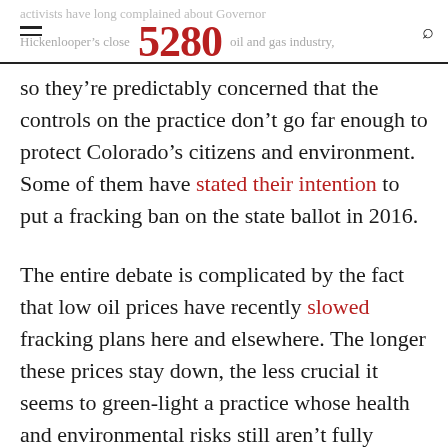activists have long complained about Governor Hickenlooper's close [5280] ties to the oil and gas industry,
so they're predictably concerned that the controls on the practice don't go far enough to protect Colorado's citizens and environment. Some of them have stated their intention to put a fracking ban on the state ballot in 2016.

The entire debate is complicated by the fact that low oil prices have recently slowed fracking plans here and elsewhere. The longer these prices stay down, the less crucial it seems to green-light a practice whose health and environmental risks still aren't fully understood.